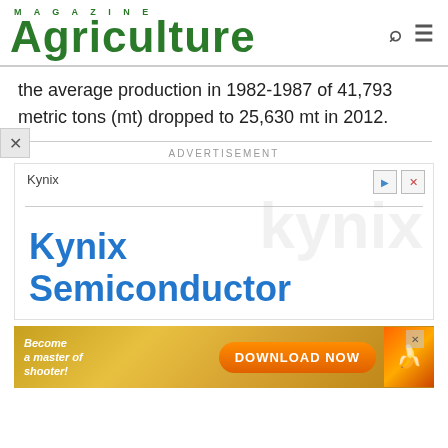[Figure (logo): Agriculture Magazine logo in green with MAGAZINE text above and search/menu icons on the right]
the average production in 1982-1987 of 41,793 metric tons (mt) dropped to 25,630 mt in 2012.
[Figure (other): Advertisement box for Kynix Semiconductor with watermark text and blue heading]
[Figure (other): Advertisement banner: Become a master of shooter! DOWNLOAD NOW button with game imagery]